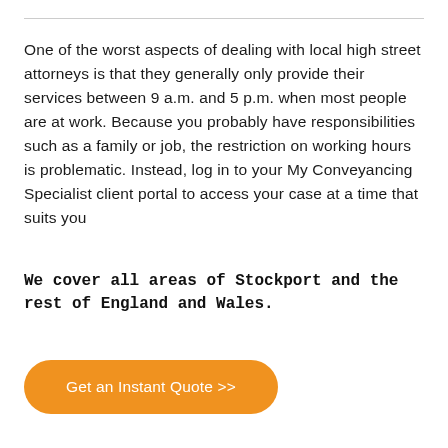One of the worst aspects of dealing with local high street attorneys is that they generally only provide their services between 9 a.m. and 5 p.m. when most people are at work. Because you probably have responsibilities such as a family or job, the restriction on working hours is problematic. Instead, log in to your My Conveyancing Specialist client portal to access your case at a time that suits you
We cover all areas of Stockport and the rest of England and Wales.
Get an Instant Quote >>